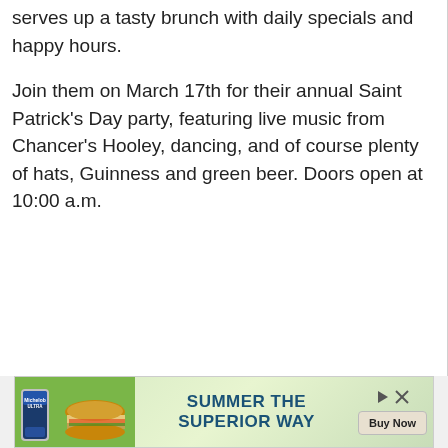serves up a tasty brunch with daily specials and happy hours.
Join them on March 17th for their annual Saint Patrick's Day party, featuring live music from Chancer's Hooley, dancing, and of course plenty of hats, Guinness and green beer. Doors open at 10:00 a.m.
[Figure (other): Advertisement banner: Michelob Ultra beer can with a burger on green background, text 'SUMMER THE SUPERIOR WAY' with a 'Buy Now' button and play/close controls.]